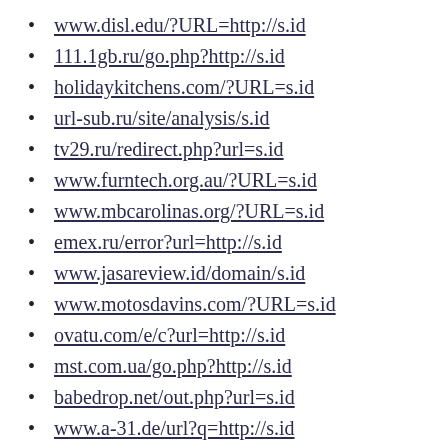www.disl.edu/?URL=http://s.id
111.1gb.ru/go.php?http://s.id
holidaykitchens.com/?URL=s.id
url-sub.ru/site/analysis/s.id
tv29.ru/redirect.php?url=s.id
www.furntech.org.au/?URL=s.id
www.mbcarolinas.org/?URL=s.id
emex.ru/error?url=http://s.id
www.jasareview.id/domain/s.id
www.motosdavins.com/?URL=s.id
ovatu.com/e/c?url=http://s.id
mst.com.ua/go.php?http://s.id
babedrop.net/out.php?url=s.id
www.a-31.de/url?q=http://s.id
www.anibox.org/go?http://s.id
google.info/url?q=http://s.id
gb.mystockhk.com/gate/gb/s.id
atlantis-tv.ru/go?http://s.id
otziv.ucoz.com/go?http://s.id